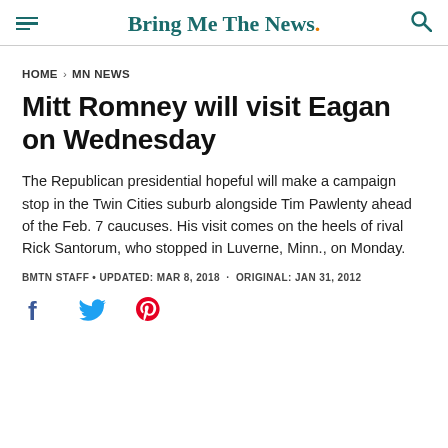Bring Me The News.
HOME › MN NEWS
Mitt Romney will visit Eagan on Wednesday
The Republican presidential hopeful will make a campaign stop in the Twin Cities suburb alongside Tim Pawlenty ahead of the Feb. 7 caucuses. His visit comes on the heels of rival Rick Santorum, who stopped in Luverne, Minn., on Monday.
BMTN STAFF • UPDATED: MAR 8, 2018 · ORIGINAL: JAN 31, 2012
[Figure (other): Social share icons: Facebook, Twitter, Pinterest]